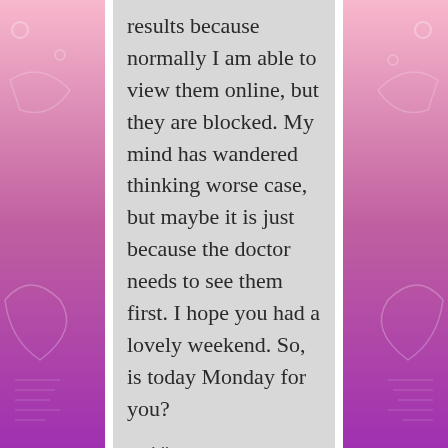results because normally I am able to view them online, but they are blocked. My mind has wandered thinking worse case, but maybe it is just because the doctor needs to see them first. I hope you had a lovely weekend. So, is today Monday for you?
Like